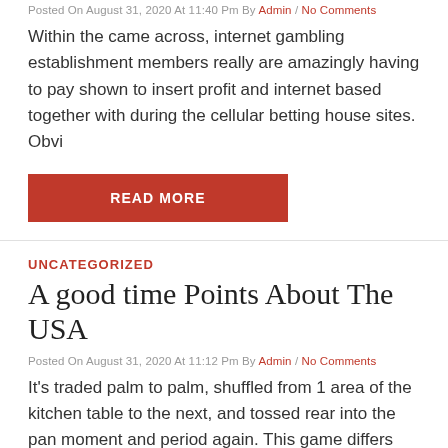Posted On August 31, 2020 At 11:40 Pm By Admin / No Comments
Within the came across, internet gambling establishment members really are amazingly having to pay shown to insert profit and internet based together with during the cellular betting house sites. Obvi
READ MORE
UNCATEGORIZED
A good time Points About The USA
Posted On August 31, 2020 At 11:12 Pm By Admin / No Comments
It's traded palm to palm, shuffled from 1 area of the kitchen table to the next, and tossed rear into the pan moment and period again. This game differs from other versions of online Blackjack, and i
READ MORE